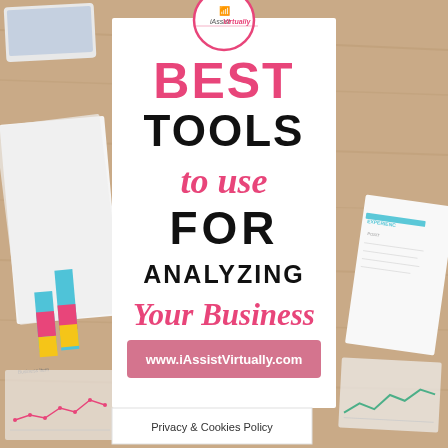[Figure (infographic): Promotional infographic for iAssistVirtually showing best tools to use for analyzing your business, with a center white card on a wooden desk background with charts and documents visible. Logo circle at top, pink and black text, pink URL bar, and a Privacy & Cookies Policy box at the bottom.]
BEST TOOLS to use FOR ANALYZING Your Business
www.iAssistVirtually.com
Privacy & Cookies Policy